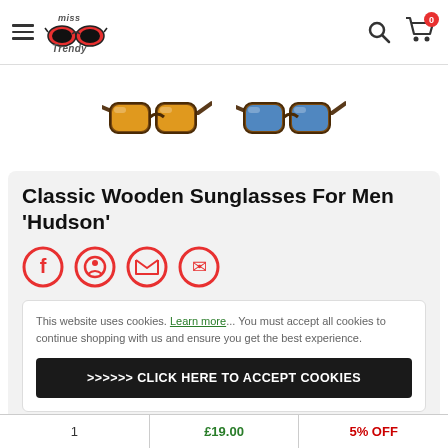Miss Trendy — navigation header with hamburger menu, logo, search and cart icons
[Figure (photo): Two pairs of classic wooden sunglasses side by side: left pair has orange/yellow mirrored lenses with dark wooden frames, right pair has blue mirrored lenses with dark wooden frames.]
Classic Wooden Sunglasses For Men 'Hudson'
[Figure (infographic): Row of four circular social share icons (red outlined circles): Facebook, Instagram/smiley, Twitter, Email]
This website uses cookies. Learn more... You must accept all cookies to continue shopping with us and ensure you get the best experience.
>>>>>> CLICK HERE TO ACCEPT COOKIES
1   £19.00   5% OFF